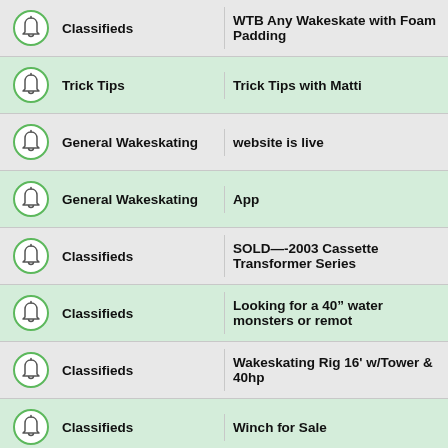|  | Category | Title |
| --- | --- | --- |
| 🔔 | Classifieds | WTB Any Wakeskate with Foam Padding |
| 🔔 | Trick Tips | Trick Tips with Matti |
| 🔔 | General Wakeskating | website is live |
| 🔔 | General Wakeskating | App |
| 🔔 | Classifieds | SOLD—-2003 Cassette Transformer Series |
| 🔔 | Classifieds | Looking for a 40" water monsters or remot |
| 🔔 | Classifieds | Wakeskating Rig 16' w/Tower & 40hp |
| 🔔 | Classifieds | Winch for Sale |
| 🔔 | Find A Pull | Who's near Waco?? |
| 🔔 | General Wakeskating | Travis Doran could use our help |
| 🔔 | General Wakeskating | TwentyOne by Daniel Grant |
| 🔔 | General Wakeskating | Daniel Grant / 2018 Season Edit / Heightened State of Life. |
| 🔔 | Classifieds | 2011 Seadoo Wake Pro 215 - Louisiana |
| 🔔 | Classifieds | Cassettes, Integ and Mutinys |
| 🔔 | Classifieds | For Sale: CWB Bi-Level |